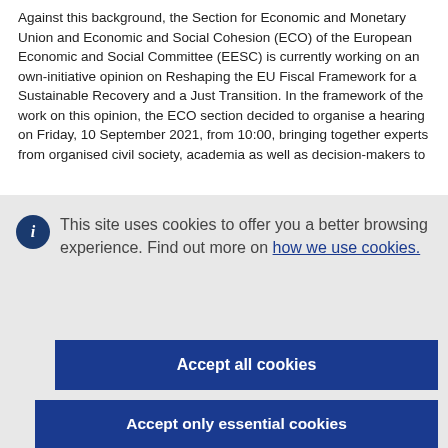Against this background, the Section for Economic and Monetary Union and Economic and Social Cohesion (ECO) of the European Economic and Social Committee (EESC) is currently working on an own-initiative opinion on Reshaping the EU Fiscal Framework for a Sustainable Recovery and a Just Transition. In the framework of the work on this opinion, the ECO section decided to organise a hearing on Friday, 10 September 2021, from 10:00, bringing together experts from organised civil society, academia as well as decision-makers to
This site uses cookies to offer you a better browsing experience. Find out more on how we use cookies.
Accept all cookies
Accept only essential cookies